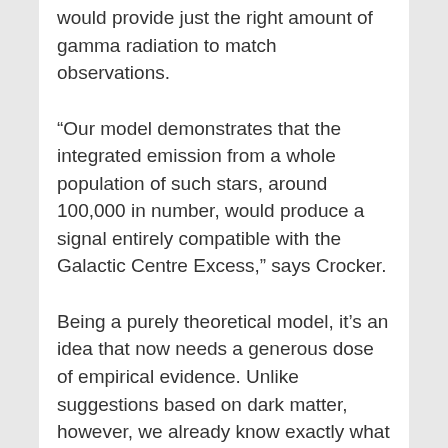would provide just the right amount of gamma radiation to match observations.
“Our model demonstrates that the integrated emission from a whole population of such stars, around 100,000 in number, would produce a signal entirely compatible with the Galactic Centre Excess,” says Crocker.
Being a purely theoretical model, it’s an idea that now needs a generous dose of empirical evidence. Unlike suggestions based on dark matter, however, we already know exactly what to look for.
This research was published in Nature Astronomy.